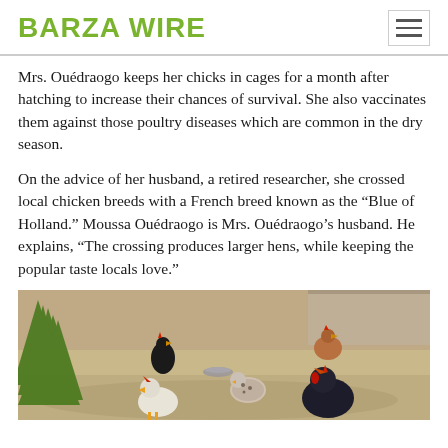BARZA WIRE
Mrs. Ouédraogo keeps her chicks in cages for a month after hatching to increase their chances of survival. She also vaccinates them against those poultry diseases which are common in the dry season.
On the advice of her husband, a retired researcher, she crossed local chicken breeds with a French breed known as the “Blue of Holland.” Moussa Ouédraogo is Mrs. Ouédraogo’s husband. He explains, “The crossing produces larger hens, while keeping the popular taste locals love.”
[Figure (photo): Chickens and a turkey in a farmyard with sandy ground and green foliage in the foreground.]